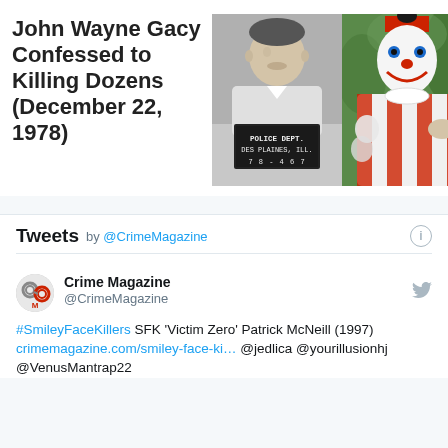John Wayne Gacy Confessed to Killing Dozens (December 22, 1978)
[Figure (photo): Two side-by-side photos: left is a black-and-white police mugshot of John Wayne Gacy holding a sign reading 'POLICE DEPT. DES PLAINES, ILL. 78-467'; right is a color photo of Gacy in his Pogo the Clown costume with white face paint, red wig/hat, and red-and-white striped costume holding balloons.]
Tweets by @CrimeMagazine
Crime Magazine @CrimeMagazine
#SmileyFaceKillers SFK 'Victim Zero' Patrick McNeill (1997) crimemagazine.com/smiley-face-ki... @jedlica @yourillusionhj @VenusMantrap22